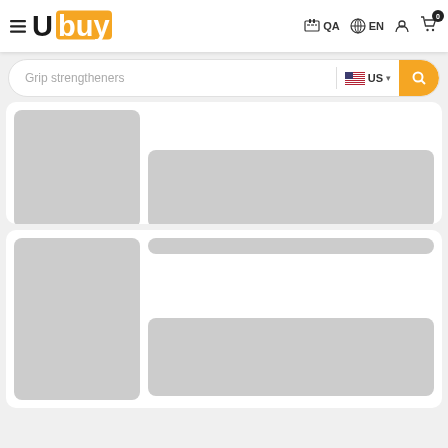Ubuy | QA | EN | Cart 0
Grip strengtheners
[Figure (screenshot): Loading skeleton card 1 with gray image placeholder on left and gray content placeholder block on right]
[Figure (screenshot): Loading skeleton card 2 with gray image placeholder on left, a thin title bar and a large content block on right]